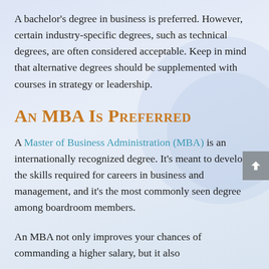A bachelor's degree in business is preferred. However, certain industry-specific degrees, such as technical degrees, are often considered acceptable. Keep in mind that alternative degrees should be supplemented with courses in strategy or leadership.
An MBA Is Preferred
A Master of Business Administration (MBA) is an internationally recognized degree. It's meant to develop the skills required for careers in business and management, and it's the most commonly seen degree among boardroom members.
An MBA not only improves your chances of commanding a higher salary, but it also